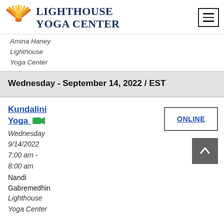[Figure (logo): Lighthouse Yoga Center logo with sunburst icon and serif text]
Amina Haney
Lighthouse
Yoga Center
Wednesday - September 14, 2022 / EST
Kundalini Yoga
Wednesday
9/14/2022
7:00 am - 8:00 am
Nandi Gabremedhin
Lighthouse
Yoga Center
ONLINE